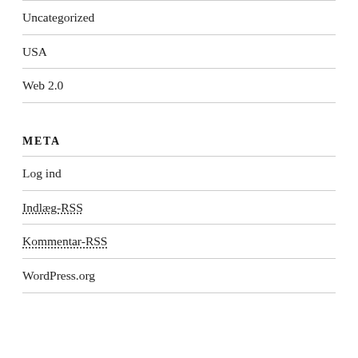Uncategorized
USA
Web 2.0
META
Log ind
Indlæg-RSS
Kommentar-RSS
WordPress.org